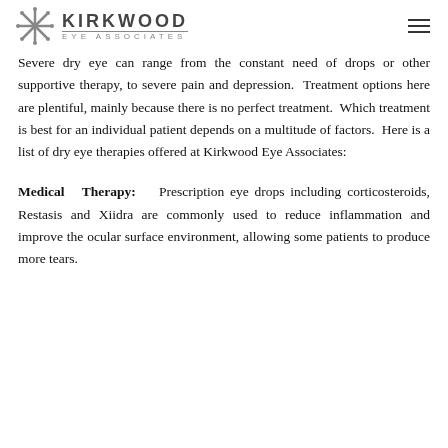Kirkwood Eye Associates
Severe dry eye can range from the constant need of drops or other supportive therapy, to severe pain and depression. Treatment options here are plentiful, mainly because there is no perfect treatment. Which treatment is best for an individual patient depends on a multitude of factors. Here is a list of dry eye therapies offered at Kirkwood Eye Associates:
Medical Therapy: Prescription eye drops including corticosteroids, Restasis and Xiidra are commonly used to reduce inflammation and improve the ocular surface environment, allowing some patients to produce more tears.